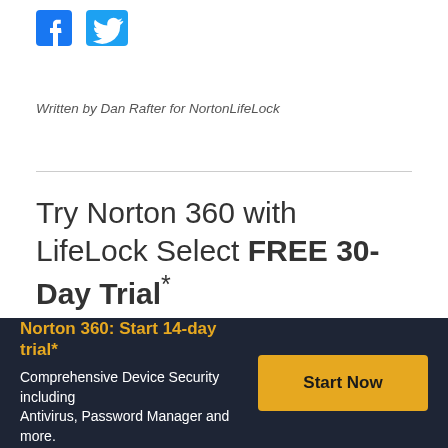[Figure (logo): Facebook and Twitter social media icons in blue]
Written by Dan Rafter for NortonLifeLock
Try Norton 360 with LifeLock Select FREE 30-Day Trial*
30 days of FREE* comprehensive antivirus, device security, online privacy, and identity theft protection with LifeLock.
Norton 360: Start 14-day trial*
Comprehensive Device Security including Antivirus, Password Manager and more.